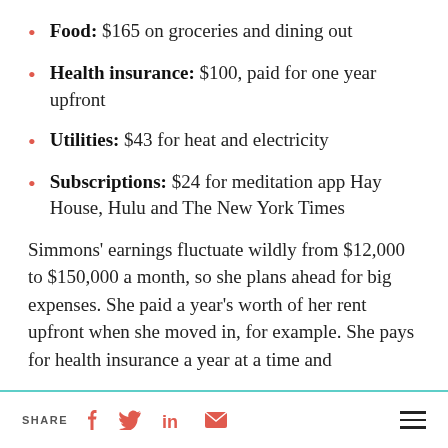Food: $165 on groceries and dining out
Health insurance: $100, paid for one year upfront
Utilities: $43 for heat and electricity
Subscriptions: $24 for meditation app Hay House, Hulu and The New York Times
Simmons’ earnings fluctuate wildly from $12,000 to $150,000 a month, so she plans ahead for big expenses. She paid a year’s worth of her rent upfront when she moved in, for example. She pays for health insurance a year at a time and
SHARE